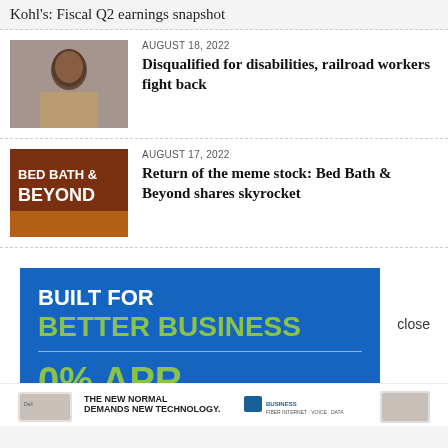Kohl's: Fiscal Q2 earnings snapshot
AUGUST 18, 2022
Disqualified for disabilities, railroad workers fight back
AUGUST 17, 2022
Return of the meme stock: Bed Bath & Beyond shares skyrocket
[Figure (infographic): Advertisement banner: BUILT FOR BETTER BUSINESS, 0% APR, with blue background and green text]
[Figure (infographic): Bottom banner ad: THE NEW NORMAL DEMANDS NEW TECHNOLOGY with Business Internet logo and people in office]